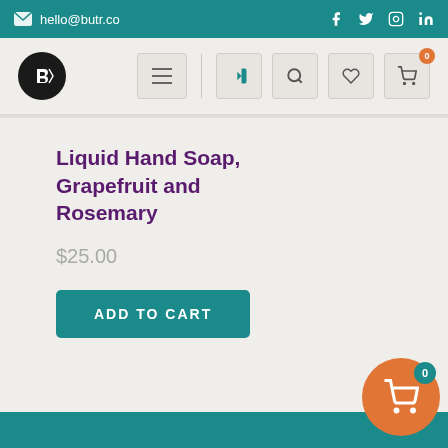hello@butr.co
[Figure (logo): Butr logo - circular black logo with stylized B]
Liquid Hand Soap, Grapefruit and Rosemary
$25.00
ADD TO CART